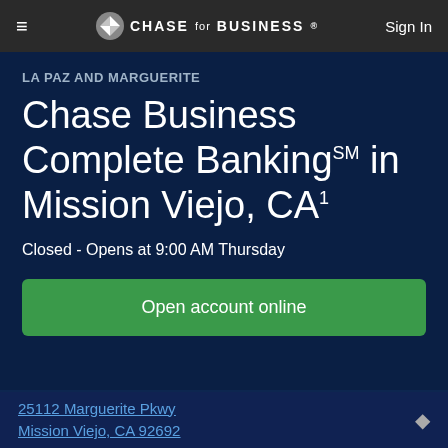≡  CHASE for BUSINESS®  Sign In
LA PAZ AND MARGUERITE
Chase Business Complete BankingSM in Mission Viejo, CA1
Closed - Opens at 9:00 AM Thursday
Open account online
25112 Marguerite Pkwy
Mission Viejo, CA 92692